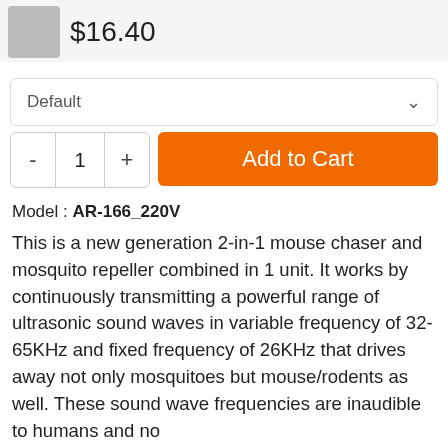$16.40
Default
- 1 + Add to Cart
Model : AR-166_220V
This is a new generation 2-in-1 mouse chaser and mosquito repeller combined in 1 unit. It works by continuously transmitting a powerful range of ultrasonic sound waves in variable frequency of 32-65KHz and fixed frequency of 26KHz that drives away not only mosquitoes but mouse/rodents as well. These sound wave frequencies are inaudible to humans and not harmful to ke cat, dog, or bird (Hamsters and guinea pigs will simply need to be moved to a room without an ultrasonic rodent repellent). Mouse repeller